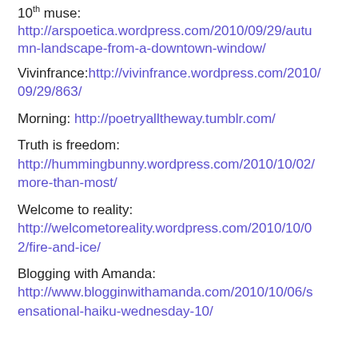10th muse: http://arspoetica.wordpress.com/2010/09/29/autumn-landscape-from-a-downtown-window/
Vivinfrance: http://vivinfrance.wordpress.com/2010/09/29/863/
Morning: http://poetryalltheway.tumblr.com/
Truth is freedom: http://hummingbunny.wordpress.com/2010/10/02/more-than-most/
Welcome to reality: http://welcometoreality.wordpress.com/2010/10/02/fire-and-ice/
Blogging with Amanda: http://www.blogginwithamanda.com/2010/10/06/sensational-haiku-wednesday-10/